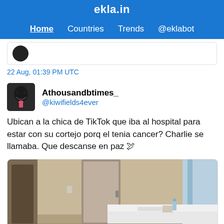ekla.in
Home  Countries  Trends  @eklabot
22 Aug, 01:39 PM UTC
Athousandbtimes_
@kiwifields4ever
Ubican a la chica de TikTok que iba al hospital para estar con su cortejo porq el tenia cancer? Charlie se llamaba. Que descanse en paz 🕊
[Figure (photo): Hospital room interior showing a door, beige walls, and medical bed with white sheets]